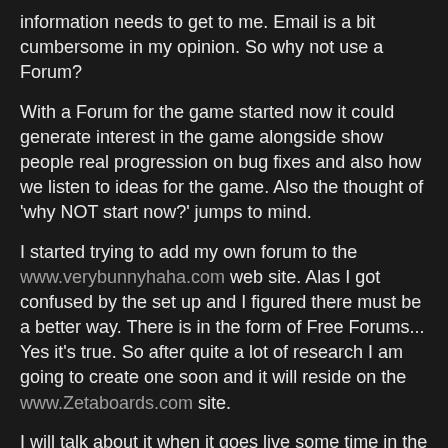information needs to get to me. Email is a bit cumbersome in my opinion. So why not use a Forum?
With a Forum for the game started now it could generate interest in the game alongside show people real progression on bug fixes and also how we listen to ideas for the game. Also the thought of 'why NOT start now?' jumps to mind.
I started trying to add my own forum to the www.verybunnyhaha.com web site. Alas I got confused by the set up and I figured there must be a better way. There is in the form of Free Forums... Yes it's true. So after quite a lot of research I am going to create one soon and it will reside on the www.Zetaboards.com site.
I will talk about it when it goes live some time in the near future. I will also discuss why I chose Zetaboards at that time,
Laters
Da Voodoochief